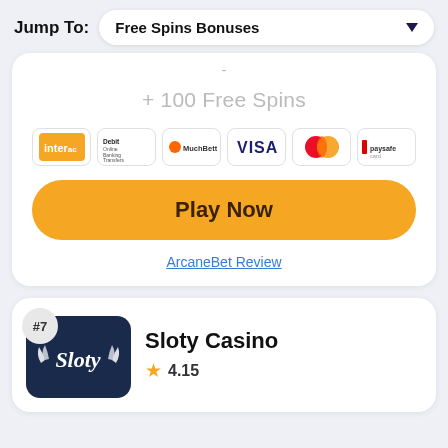Jump To: Free Spins Bonuses
+ 100 Free Spins
[Figure (other): Payment method icons: Interac, Debit Online Banking, MuchBetter, VISA, Mastercard, Paysafecard]
Play Now
ArcaneBet Review
#7
[Figure (logo): Sloty Casino logo - dark navy background with winged Sloty script text in white]
Sloty Casino
4.15